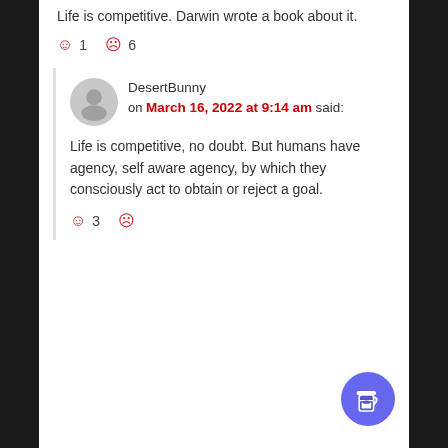Life is competitive. Darwin wrote a book about it.
☺ 1   ☹ 6
DesertBunny on March 16, 2022 at 9:14 am said:
Life is competitive, no doubt. But humans have agency, self aware agency, by which they consciously act to obtain or reject a goal.
☺ 3   ☹